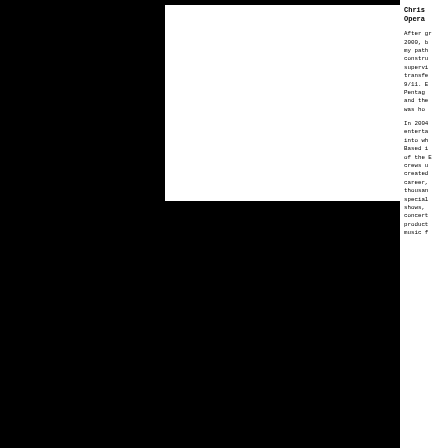[Figure (photo): A white rectangular image placeholder/photo box with black border, positioned in the upper-center area of the page against a black background.]
Chris Opera
After gr 2000, b my path constru supervi transfe 9/11. E Pentag and the was ho
In 2004 enterta into wh Based i of the E crews u created career, thousan special shows, concert product music f